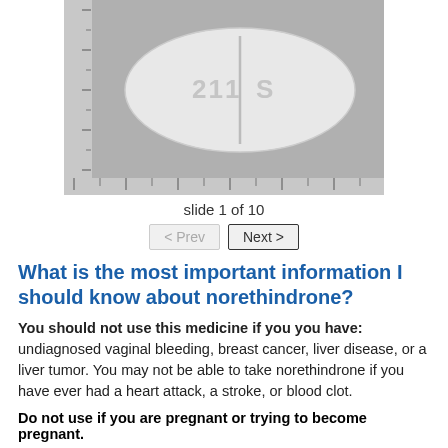[Figure (photo): Photo of a white oval pill imprinted with '211' and 'S', shown with a ruler scale background in gray.]
slide 1 of 10
< Prev    Next >
What is the most important information I should know about norethindrone?
You should not use this medicine if you you have: undiagnosed vaginal bleeding, breast cancer, liver disease, or a liver tumor. You may not be able to take norethindrone if you have ever had a heart attack, a stroke, or blood clot.
Do not use if you are pregnant or trying to become pregnant.